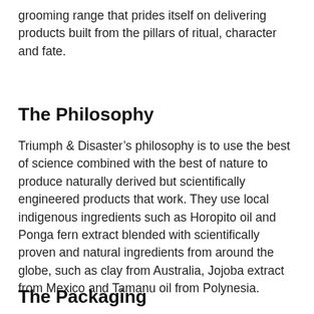grooming range that prides itself on delivering products built from the pillars of ritual, character and fate.
The Philosophy
Triumph & Disaster’s philosophy is to use the best of science combined with the best of nature to produce naturally derived but scientifically engineered products that work. They use local indigenous ingredients such as Horopito oil and Ponga fern extract blended with scientifically proven and natural ingredients from around the globe, such as clay from Australia, Jojoba extract from Mexico and Tamanu oil from Polynesia.
The Packaging